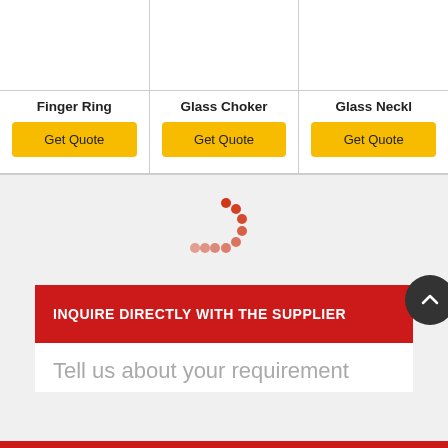[Figure (screenshot): Product grid showing Finger Ring, Glass Choker, and Glass Necklace (partially visible) with Get Quote buttons]
Finger Ring
Get Quote
Glass Choker
Get Quote
Glass Neckl...
Get Quote
[Figure (other): Loading spinner animation - red dots arranged in a circular arc]
INQUIRE DIRECTLY WITH THE SUPPLIER
Tell us about your requirement